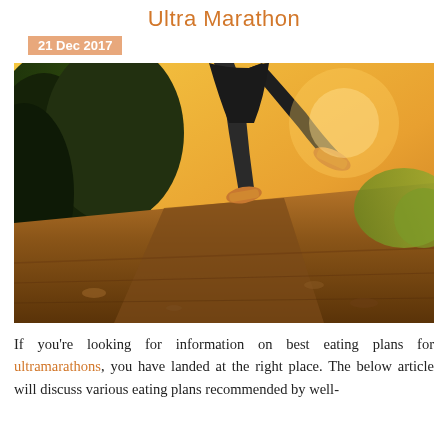Ultra Marathon
21 Dec 2017
[Figure (photo): A runner on a dirt trail road, photographed from a low angle showing legs and shoes with trees and golden sky in background.]
If you're looking for information on best eating plans for ultramarathons, you have landed at the right place. The below article will discuss various eating plans recommended by well-